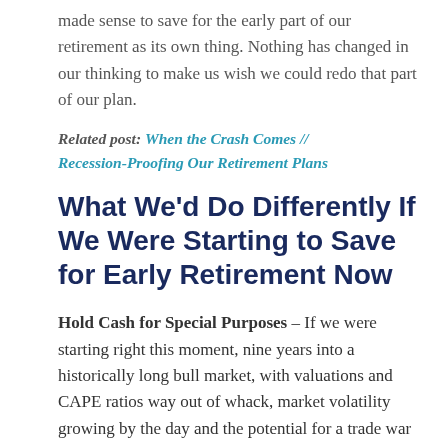made sense to save for the early part of our retirement as its own thing. Nothing has changed in our thinking to make us wish we could redo that part of our plan.
Related post: When the Crash Comes // Recession-Proofing Our Retirement Plans
What We'd Do Differently If We Were Starting to Save for Early Retirement Now
Hold Cash for Special Purposes – If we were starting right this moment, nine years into a historically long bull market, with valuations and CAPE ratios way out of whack, market volatility growing by the day and the potential for a trade war looming, we'd probably be tempted to go against everything we've ever read and try to time